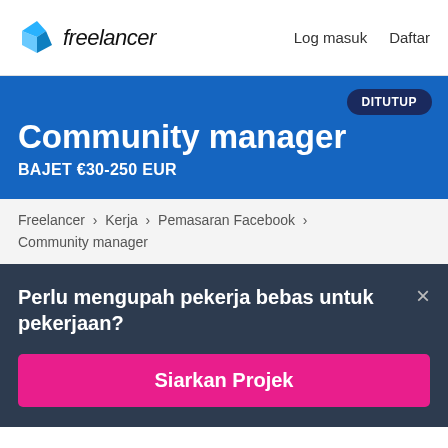Freelancer  Log masuk  Daftar
Community manager
BAJET €30-250 EUR
DITUTUP
Freelancer › Kerja › Pemasaran Facebook › Community manager
Perlu mengupah pekerja bebas untuk pekerjaan?
Siarkan Projek